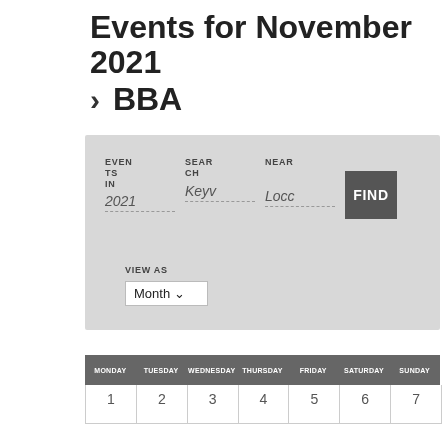Events for November 2021 › BBA
[Figure (screenshot): Event search panel with fields: Events In (2021), Search (Keyv), Near (Locc), Find button, and View As dropdown set to Month]
[Figure (table-as-image): Calendar header row showing days: Monday, Tuesday, Wednesday, Thursday, Friday, Saturday, Sunday]
| MON | TUES | WEDNES | THURS | FRI | SATUR | SUN |
| --- | --- | --- | --- | --- | --- | --- |
| 1 | 2 | 3 | 4 | 5 | 6 | 7 |